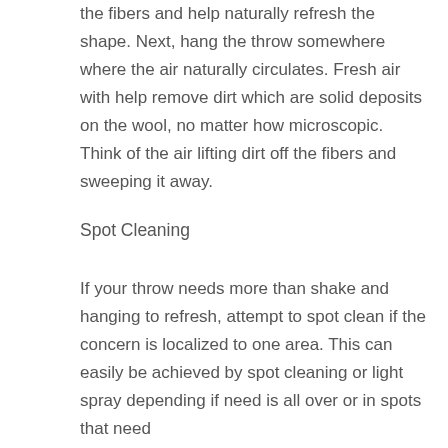the fibers and help naturally refresh the shape. Next, hang the throw somewhere where the air naturally circulates. Fresh air with help remove dirt which are solid deposits on the wool, no matter how microscopic. Think of the air lifting dirt off the fibers and sweeping it away.
Spot Cleaning
If your throw needs more than shake and hanging to refresh, attempt to spot clean if the concern is localized to one area. This can easily be achieved by spot cleaning or light spray depending if need is all over or in spots that need